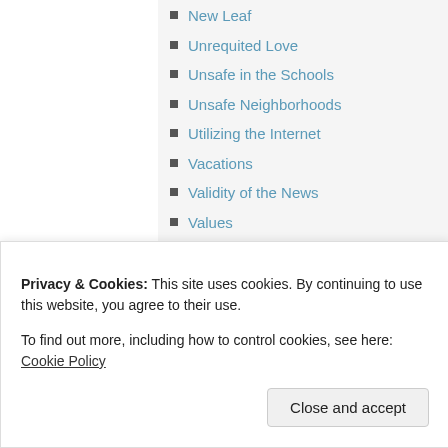New Leaf
Unrequited Love
Unsafe in the Schools
Unsafe Neighborhoods
Utilizing the Internet
Vacations
Validity of the News
Values
Vicious Cycle
Violence Against Members of
Wake Up Calls
Privacy & Cookies: This site uses cookies. By continuing to use this website, you agree to their use.
To find out more, including how to control cookies, see here: Cookie Policy
Close and accept